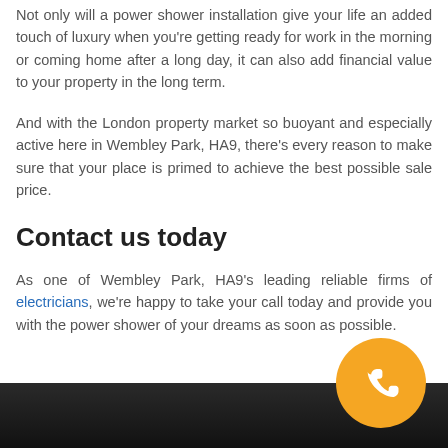Not only will a power shower installation give your life an added touch of luxury when you're getting ready for work in the morning or coming home after a long day, it can also add financial value to your property in the long term.
And with the London property market so buoyant and especially active here in Wembley Park, HA9, there's every reason to make sure that your place is primed to achieve the best possible sale price.
Contact us today
As one of Wembley Park, HA9's leading reliable firms of electricians, we're happy to take your call today and provide you with the power shower of your dreams as soon as possible.
[Figure (illustration): Orange circle button with a white phone handset icon]
[Figure (photo): Dark strip at the bottom of the page, partially showing a dark background scene]